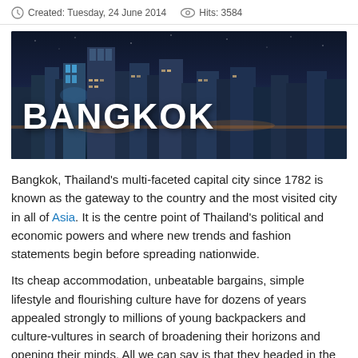Created: Tuesday, 24 June 2014   Hits: 3584
[Figure (photo): Aerial night view of Bangkok city skyline with skyscrapers and river, with overlaid text 'Bangkok']
Bangkok, Thailand's multi-faceted capital city since 1782 is known as the gateway to the country and the most visited city in all of Asia. It is the centre point of Thailand's political and economic powers and where new trends and fashion statements begin before spreading nationwide.
Its cheap accommodation, unbeatable bargains, simple lifestyle and flourishing culture have for dozens of years appealed strongly to millions of young backpackers and culture-vultures in search of broadening their horizons and opening their minds. All we can say is that they headed in the right direction!